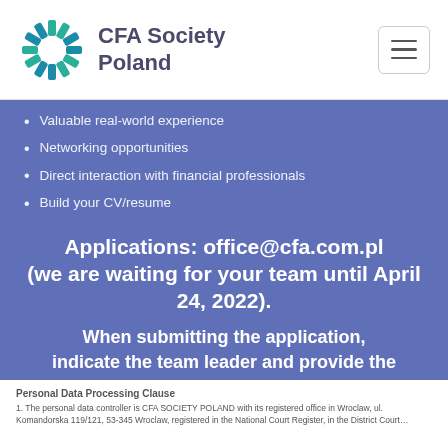CFA Society Poland
Valuable real-world experience
Networking opportunities
Direct interaction with financial professionals
Build your CV/resume
Applications: office@cfa.com.pl (we are waiting for your team until April 24, 2022). When submitting the application, indicate the team leader and provide the e-mail addresses of all participants. Your application will be confirmed by the organizer.
Personal Data Processing Clause
1. The personal data controller is CFA SOCIETY POLAND with its registered office in Wroclaw, ul. Komandorska 119/121, 53-345 Wroclaw, registered in the National Court Register, in the District Court...